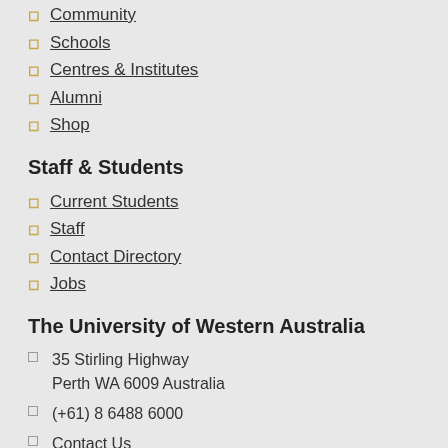Community
Schools
Centres & Institutes
Alumni
Shop
Staff & Students
Current Students
Staff
Contact Directory
Jobs
The University of Western Australia
35 Stirling Highway Perth WA 6009 Australia
(+61) 8 6488 6000
Contact Us
Ask UWA
Campus Map